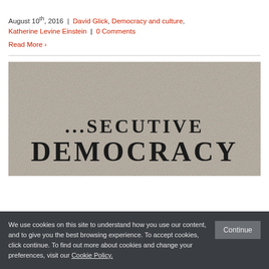August 10th, 2016 | David Glick, Democracy and culture, Katherine Levine Einstein | 0 Comments
Read More ›
[Figure (photo): Partial book cover showing large bold text reading 'DEMOCRACY' with partial text above it on a granite/stone textured background]
We use cookies on this site to understand how you use our content, and to give you the best browsing experience. To accept cookies, click continue. To find out more about cookies and change your preferences, visit our Cookie Policy.